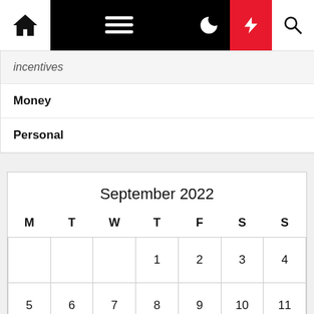Navigation bar with home, menu, moon, bolt, and search icons
incentives
Money
Personal
| M | T | W | T | F | S | S |
| --- | --- | --- | --- | --- | --- | --- |
|  |  |  | 1 | 2 | 3 | 4 |
| 5 | 6 | 7 | 8 | 9 | 10 | 11 |
| 12 | 13 | 14 | 15 | 16 | 17 | 18 |
| 19 | 20 | 21 | 22 | 23 | 24 | 25 |